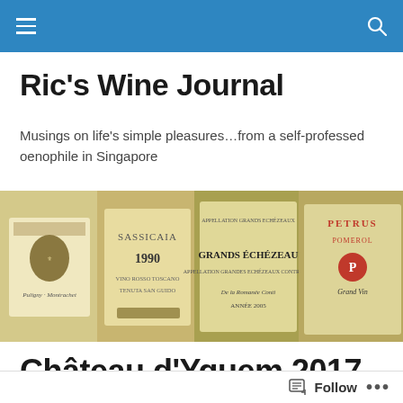[Navigation bar with menu and search icons]
Ric's Wine Journal
Musings on life's simple pleasures…from a self-professed oenophile in Singapore
[Figure (photo): Close-up photograph of wine bottles with labels including Sassicaia 1990, Grands Échézeaux, and other fine wines]
Château d'Yquem 2017, 2014, 2011, 2010, 2009, 2008, 2003, 1997 & 1986
Follow •••